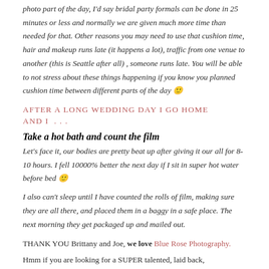photo part of the day, I'd say bridal party formals can be done in 25 minutes or less and normally we are given much more time than needed for that. Other reasons you may need to use that cushion time, hair and makeup runs late (it happens a lot), traffic from one venue to another (this is Seattle after all) , someone runs late. You will be able to not stress about these things happening if you know you planned cushion time between different parts of the day 🙂
AFTER A LONG WEDDING DAY I GO HOME AND I . . .
Take a hot bath and count the film
Let's face it, our bodies are pretty beat up after giving it our all for 8-10 hours. I fell 10000% better the next day if I sit in super hot water before bed 🙂
I also can't sleep until I have counted the rolls of film, making sure they are all there, and placed them in a baggy in a safe place. The next morning they get packaged up and mailed out.
THANK YOU Brittany and Joe, we love Blue Rose Photography.
Hmm if you are looking for a SUPER talented, laid back, editorial/fine art